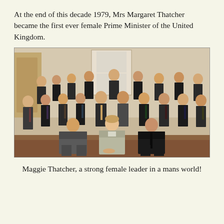At the end of this decade 1979, Mrs Margaret Thatcher became the first ever female Prime Minister of the United Kingdom.
[Figure (photo): A formal group photograph showing Margaret Thatcher (the only woman) seated in the front center, surrounded by approximately 22 men in business suits, arranged in three rows inside an elegant room.]
Maggie Thatcher, a strong female leader in a mans world!